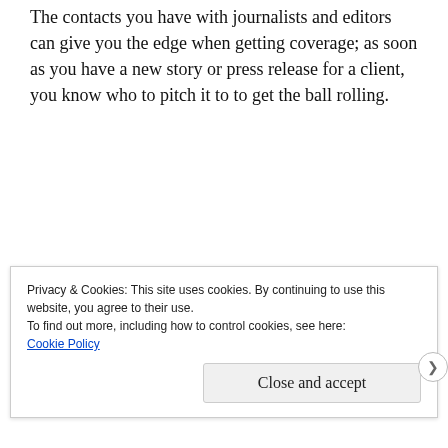The contacts you have with journalists and editors can give you the edge when getting coverage; as soon as you have a new story or press release for a client, you know who to pitch it to to get the ball rolling.
Back in the days of Sex and the City circa the nineties, digital PR wasn't yet a thing and traditional PR tactics were Samantha's forte. Now, PR pros need to have both
Privacy & Cookies: This site uses cookies. By continuing to use this website, you agree to their use.
To find out more, including how to control cookies, see here:
Cookie Policy
Close and accept